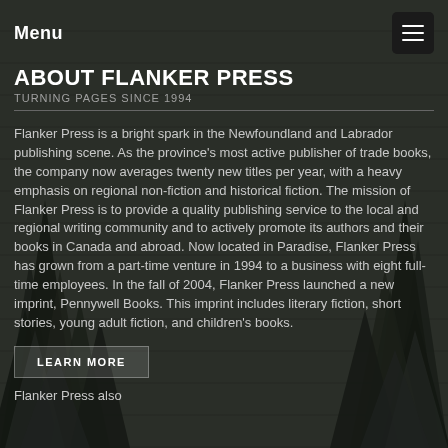Menu
ABOUT FLANKER PRESS
TURNING PAGES SINCE 1994
Flanker Press is a bright spark in the Newfoundland and Labrador publishing scene. As the province's most active publisher of trade books, the company now averages twenty new titles per year, with a heavy emphasis on regional non-fiction and historical fiction. The mission of Flanker Press is to provide a quality publishing service to the local and regional writing community and to actively promote its authors and their books in Canada and abroad. Now located in Paradise, Flanker Press has grown from a part-time venture in 1994 to a business with eight full-time employees. In the fall of 2004, Flanker Press launched a new imprint, Pennywell Books. This imprint includes literary fiction, short stories, young adult fiction, and children's books.
LEARN MORE
Flanker Press also